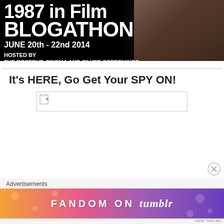[Figure (illustration): Blog banner for '1987 in Film Blogathon' showing bold white text on dark background with partial arm/person visible on right side. Text reads: '1987 in Film BLOGATHON / JUNE 20th - 22nd 2014 / HOSTED BY / THE ROSEBUD CINEMA AND SILVER SCREENINGS']
It's HERE, Go Get Your SPY ON!
[Figure (photo): Broken image placeholder (image failed to load), shown as small document icon with border]
Advertisements
[Figure (illustration): Tumblr advertisement banner with colorful gradient background (orange to pink to purple) reading 'FANDOM ON tumblr' with decorative doodles]